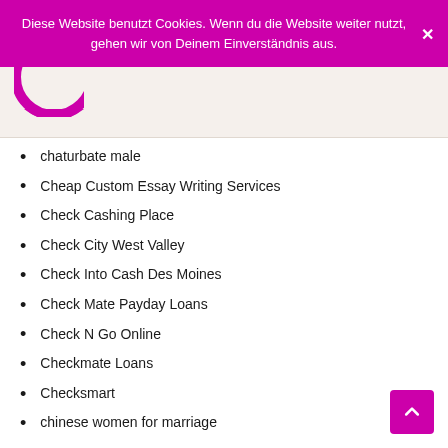Diese Website benutzt Cookies. Wenn du die Website weiter nutzt, gehen wir von Deinem Einverständnis aus.
[Figure (logo): Partial logo — pink/magenta circular logo partially visible at top left of page]
chaturbate male
Cheap Custom Essay Writing Services
Check Cashing Place
Check City West Valley
Check Into Cash Des Moines
Check Mate Payday Loans
Check N Go Online
Checkmate Loans
Checksmart
chinese women for marriage